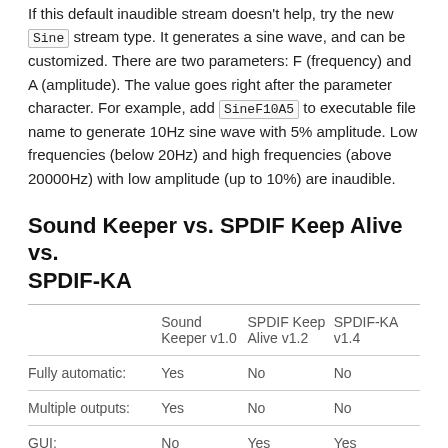If this default inaudible stream doesn't help, try the new Sine stream type. It generates a sine wave, and can be customized. There are two parameters: F (frequency) and A (amplitude). The value goes right after the parameter character. For example, add SineF10A5 to executable file name to generate 10Hz sine wave with 5% amplitude. Low frequencies (below 20Hz) and high frequencies (above 20000Hz) with low amplitude (up to 10%) are inaudible.
Sound Keeper vs. SPDIF Keep Alive vs. SPDIF-KA
|  | Sound Keeper v1.0 | SPDIF Keep Alive v1.2 | SPDIF-KA v1.4 |
| --- | --- | --- | --- |
| Fully automatic: | Yes | No | No |
| Multiple outputs: | Yes | No | No |
| GUI: | No | Yes | Yes |
| Requires .NET: | No | Yes | Yes |